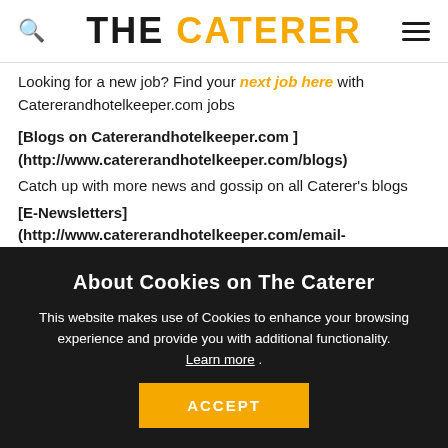THE CATERER
Looking for a new job? Find your next job here with Catererandhotelkeeper.com jobs
[Blogs on Catererandhotelkeeper.com ] (http://www.catererandhotelkeeper.com/blogs) Catch up with more news and gossip on all Caterer's blogs
[E-Newsletters] (http://www.catererandhotelkeeper.com/email-
About Cookies on The Caterer
This website makes use of Cookies to enhance your browsing experience and provide you with additional functionality. Learn more .
ACCEPT